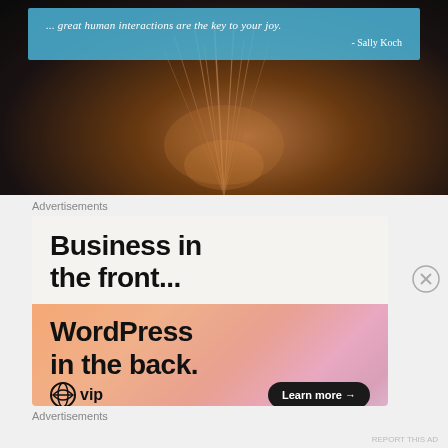[Figure (photo): Dark background photo of a flower/plant with warm light, with a light blue quote box overlay. Quote text partially visible, attributed to Sally Koch.]
Advertisements
[Figure (infographic): WordPress VIP advertisement. Top section on light background: 'Business in the front...' Bottom section on colorful orange-pink gradient: 'WordPress in the back.' with WordPress VIP logo and 'Learn more' button.]
Advertisements